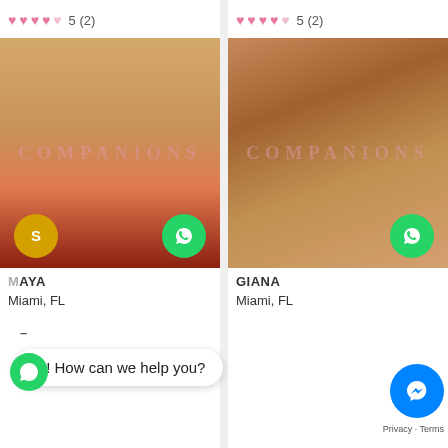[Figure (screenshot): Left profile card: rating row with 5 hearts (4 filled, 1 empty), 5 (2), profile photo of person from behind, watermark, chat and WhatsApp icons, name MAYA, location Miami FL]
[Figure (screenshot): Right profile card: rating row with 5 hearts (4 filled, 1 empty), 5 (2), profile photo of person seated wearing wide-brim hat, watermark, WhatsApp icon, name GIANA, location Miami FL]
Hi! How can we help you?
Miami, FL
GIANA
Miami, FL
Privacy · Terms